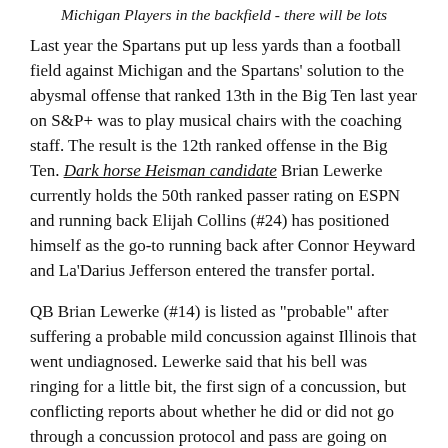Michigan Players in the backfield - there will be lots
Last year the Spartans put up less yards than a football field against Michigan and the Spartans' solution to the abysmal offense that ranked 13th in the Big Ten last year on S&P+ was to play musical chairs with the coaching staff. The result is the 12th ranked offense in the Big Ten. Dark horse Heisman candidate Brian Lewerke currently holds the 50th ranked passer rating on ESPN and running back Elijah Collins (#24) has positioned himself as the go-to running back after Connor Heyward and La'Darius Jefferson entered the transfer portal.
QB Brian Lewerke (#14) is listed as "probable" after suffering a probable mild concussion against Illinois that went undiagnosed. Lewerke said that his bell was ringing for a little bit, the first sign of a concussion, but conflicting reports about whether he did or did not go through a concussion protocol and pass are going on from the MSU athletic department.
There's not much that will keep Lewerke alive against the